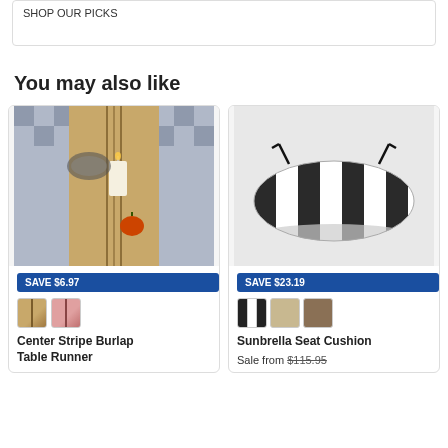SHOP OUR PICKS
You may also like
[Figure (photo): Center Stripe Burlap Table Runner product photo showing a burlap table runner on a table with candles and a small pumpkin]
SAVE $6.97
[Figure (photo): Two color swatches for Center Stripe Burlap Table Runner - natural/tan and a pinkish variant]
Center Stripe Burlap Table Runner
[Figure (photo): Sunbrella Seat Cushion product photo showing a black and white striped outdoor seat cushion with ties]
SAVE $23.19
[Figure (photo): Three color/style swatches for Sunbrella Seat Cushion]
Sunbrella Seat Cushion
Sale from $115.95